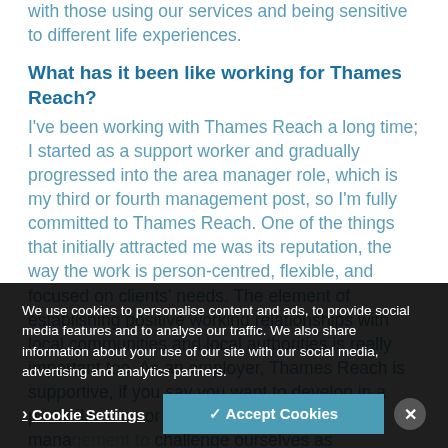with those using our services and being sensitive to different life experiences.
What has it been like working for Thames Reach?
I've been working with Thames Reach a long time; I started as a support worker and gradually progressed into the area manager role, which is my third or fourth management post, so I'm fully committed to Thames Reach. One of the things that initially attracted me was its reputation, the way the work is person-centred, flexible, and focused on clients' needs. The element of establishing positive working relationships with local communities and local authorities is really important too. As an employer, Thames Reach is supportive, if you say you want to develop in a particular area or develop a particular skill, management to challenge ourselves as professionals as well as
We use cookies to personalise content and ads, to provide social media features and to analyse our traffic. We also share information about your use of our site with our social media, advertising and analytics partners.